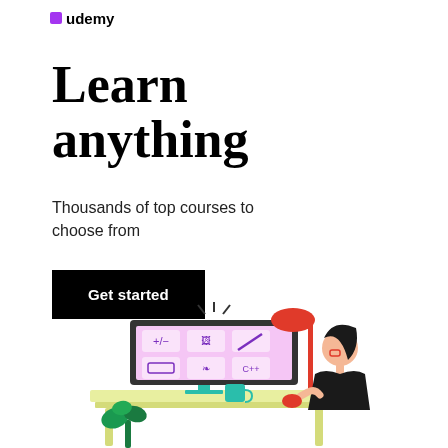[Figure (logo): Udemy logo wordmark in black text]
Learn anything
Thousands of top courses to choose from
Get started
[Figure (illustration): Illustration of a person with dark hair sitting at a desk with a yellow-green desktop, using a computer monitor showing course icons (math, photography, writing, design, cookie/art, C++), with a red desk lamp, teal mug, and green plant nearby. The person wears glasses and a purple outfit.]